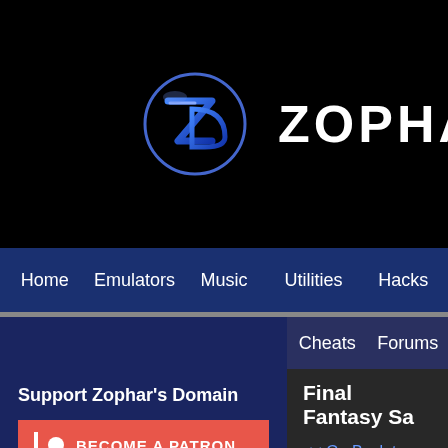[Figure (logo): Zophar's Domain logo — stylized ZD letters in blue with lightning effect]
ZOPHAR'S DOMA
Home   Emulators   Music   Utilities   Hacks
Cheats   Forums
Final Fantasy Sa
Support Zophar's Domain
BECOME A PATRON
Search
[Search input] [Search button]
Emulators on
Windows
Linux
<< Go Back to FCE Ultra R
S